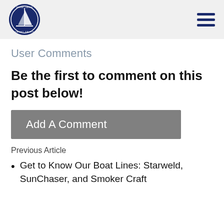Great Lakes Yacht Sales logo and navigation menu
User Comments
Be the first to comment on this post below!
Add A Comment
Previous Article
Get to Know Our Boat Lines: Starweld, SunChaser, and Smoker Craft